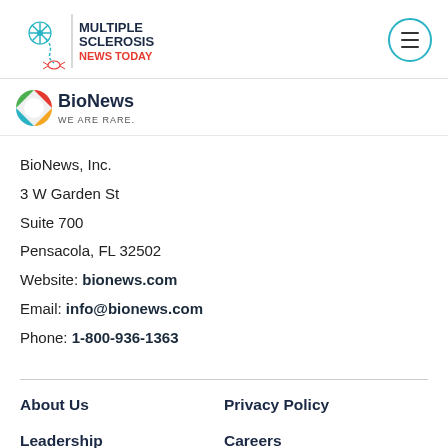[Figure (logo): Multiple Sclerosis News Today logo with snowflake/nerve icon and teal/red text, plus circular hamburger menu button]
[Figure (logo): BioNews We Are Rare logo with colorful circular icon and dark text]
BioNews, Inc.
3 W Garden St
Suite 700
Pensacola, FL 32502
Website: bionews.com
Email: info@bionews.com
Phone: 1-800-936-1363
About Us
Privacy Policy
Leadership
Careers
Our Culture
Contact Us